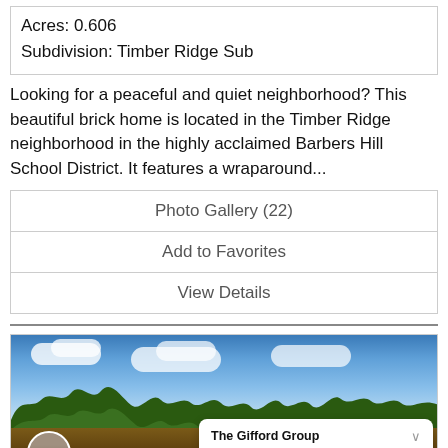Acres: 0.606
Subdivision: Timber Ridge Sub
Looking for a peaceful and quiet neighborhood? This beautiful brick home is located in the Timber Ridge neighborhood in the highly acclaimed Barbers Hill School District. It features a wraparound...
Photo Gallery (22)
Add to Favorites
View Details
[Figure (photo): Exterior photo of a brick home with trees and blue sky background, with a chat overlay from The Gifford Group saying 'Let us know if you have any questions?']